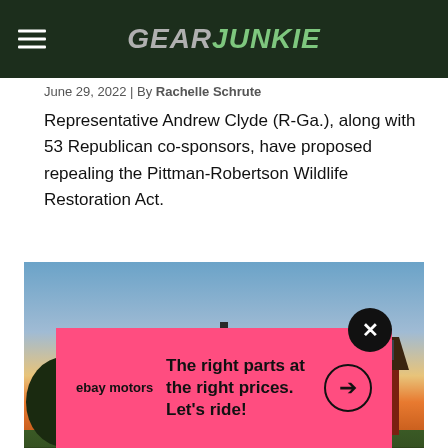GearJunkie
June 29, 2022 | By Rachelle Schrute
Representative Andrew Clyde (R-Ga.), along with 53 Republican co-sponsors, have proposed repealing the Pittman-Robertson Wildlife Restoration Act.
[Figure (photo): Sunset landscape photo showing a red barn with farm fencing, trees silhouetted against orange and yellow sky, with a fire pit or grill stand in the foreground]
[Figure (infographic): eBay Motors advertisement banner with pink background reading: The right parts at the right prices. Let's ride! with eBay motors logo on left and arrow button on right]